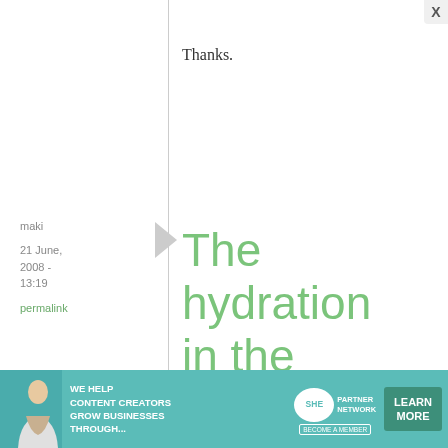Thanks.
maki
21 June, 2008 - 13:19
permalink
The hydration in the book is
The hydration in the book is the same as I wrote in the doom day?
[Figure (infographic): Advertisement banner for SHE Partner Network: 'We help content creators grow businesses through...' with Learn More button]